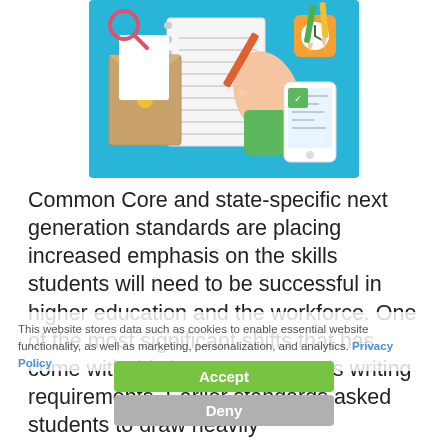[Figure (illustration): Flat design illustration of a person writing in a notebook on a blue desk with school supplies including pencils, a magnifying glass, an envelope, a clock, and a smartphone.]
Common Core and state-specific next generation standards are placing increased emphasis on the skills students will need to be successful in higher education and the workforce. One of the most significant shifts that has come with this is a move towards writing requirements. Earlier standards asked students to draw heavily
This website stores data such as cookies to enable essential website functionality, as well as marketing, personalization, and analytics. Privacy Policy
Accept
Deny